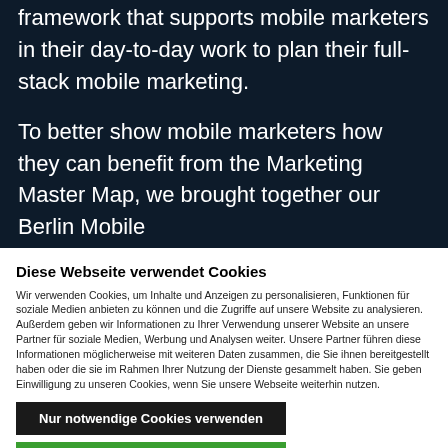framework that supports mobile marketers in their day-to-day work to plan their full-stack mobile marketing.
To better show mobile marketers how they can benefit from the Marketing Master Map, we brought together our Berlin Mobile
Diese Webseite verwendet Cookies
Wir verwenden Cookies, um Inhalte und Anzeigen zu personalisieren, Funktionen für soziale Medien anbieten zu können und die Zugriffe auf unsere Website zu analysieren. Außerdem geben wir Informationen zu Ihrer Verwendung unserer Website an unsere Partner für soziale Medien, Werbung und Analysen weiter. Unsere Partner führen diese Informationen möglicherweise mit weiteren Daten zusammen, die Sie ihnen bereitgestellt haben oder die sie im Rahmen Ihrer Nutzung der Dienste gesammelt haben. Sie geben Einwilligung zu unseren Cookies, wenn Sie unsere Webseite weiterhin nutzen.
Nur notwendige Cookies verwenden
Cookies zulassen
Details zeigen